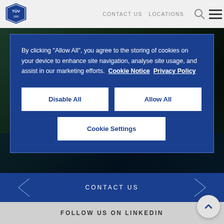[Figure (logo): TUV 100 logo in blue octagon shape]
CONTACT US   LOCATIONS
By clicking "Allow All", you agree to the storing of cookies on your device to enhance site navigation, analyse site usage, and assist in our marketing efforts.  Cookie Notice   Privacy Policy
Disable All
Allow All
Cookie Settings
CONTACT US
FOLLOW US ON LINKEDIN